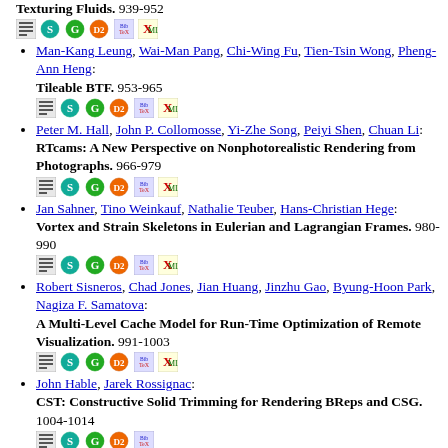Man-Kang Leung, Wai-Man Pang, Chi-Wing Fu, Tien-Tsin Wong, Pheng-Ann Heng: Tileable BTF. 953-965
Peter M. Hall, John P. Collomosse, Yi-Zhe Song, Peiyi Shen, Chuan Li: RTcams: A New Perspective on Nonphotorealistic Rendering from Photographs. 966-979
Jan Sahner, Tino Weinkauf, Nathalie Teuber, Hans-Christian Hege: Vortex and Strain Skeletons in Eulerian and Lagrangian Frames. 980-990
Robert Sisneros, Chad Jones, Jian Huang, Jinzhu Gao, Byung-Hoon Park, Nagiza F. Samatova: A Multi-Level Cache Model for Run-Time Optimization of Remote Visualization. 991-1003
John Hable, Jarek Rossignac: CST: Constructive Solid Trimming for Rendering BReps and CSG. 1004-1014